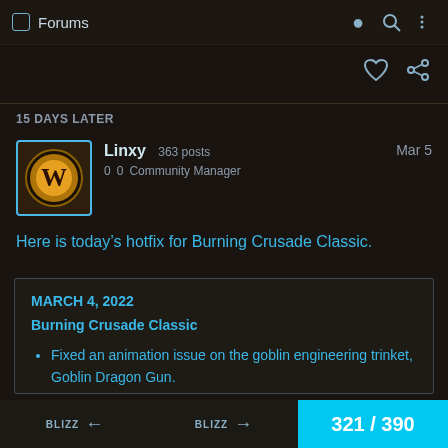Forums
15 DAYS LATER
Linxy  363 posts  0  0  Community Manager  Mar 5
Here is today's hotfix for Burning Crusade Classic.
MARCH 4, 2022
Burning Crusade Classic
Fixed an animation issue on the goblin engineering trinket, Goblin Dragon Gun.
321 / 390